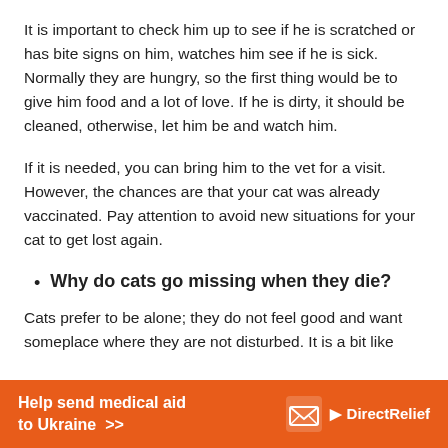It is important to check him up to see if he is scratched or has bite signs on him, watches him see if he is sick. Normally they are hungry, so the first thing would be to give him food and a lot of love. If he is dirty, it should be cleaned, otherwise, let him be and watch him.
If it is needed, you can bring him to the vet for a visit. However, the chances are that your cat was already vaccinated. Pay attention to avoid new situations for your cat to get lost again.
Why do cats go missing when they die?
Cats prefer to be alone; they do not feel good and want someplace where they are not disturbed. It is a bit like
[Figure (other): Orange advertisement banner for Direct Relief: 'Help send medical aid to Ukraine >>' with Direct Relief logo (white envelope icon and text)]